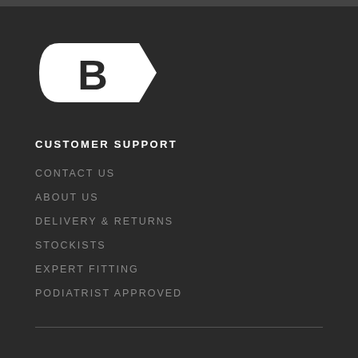[Figure (logo): White logo: a stylized teardrop/tag shape pointing left with a bold letter B cutout inside, on dark background]
CUSTOMER SUPPORT
CONTACT US
ABOUT US
DELIVERY & RETURNS
STOCKISTS
EXPERT FITTING
PODIATRIST APPROVED